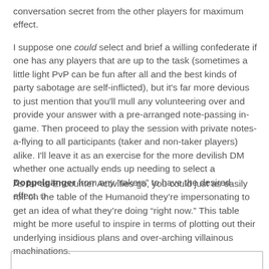conversation secret from the other players for maximum effect.
I suppose one could select and brief a willing confederate if one has any players that are up to the task (sometimes a little light PvP can be fun after all and the best kinds of party sabotage are self-inflicted), but it's far more devious to just mention that you'll mull any volunteering over and provide your answer with a pre-arranged note-passing in-game. Then proceed to play the session with private notes-a-flying to all participants (taker and non-taker players) alike. I'll leave it as an exercise for the more devilish DM whether one actually ends up needing to select a Doppelgänger from any “takers” to have the desired effect.☺
As far as Encounter Activities go, you could just as easily roll on the table of the Humanoid they’re impersonating to get an idea of what they’re doing “right now.” This table might be more useful to inspire in terms of plotting out their underlying insidious plans and over-arching villainous machinations.